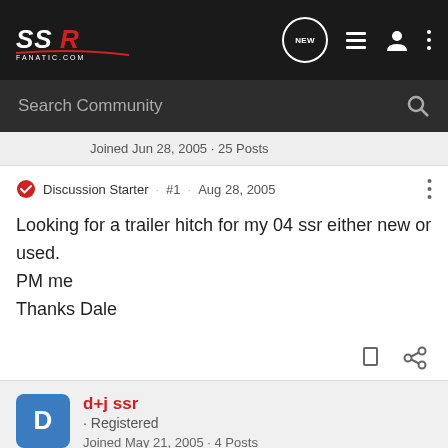SSR Fanatic.com — navigation bar with logo, NEW chat bubble, list icon, user icon, more icon
Search Community
Joined Jun 28, 2005 · 25 Posts
Discussion Starter · #1 · Aug 28, 2005
Looking for a trailer hitch for my 04 ssr either new or used.
PM me
Thanks Dale
d+j ssr · Registered
Joined May 21, 2005 · 4 Posts